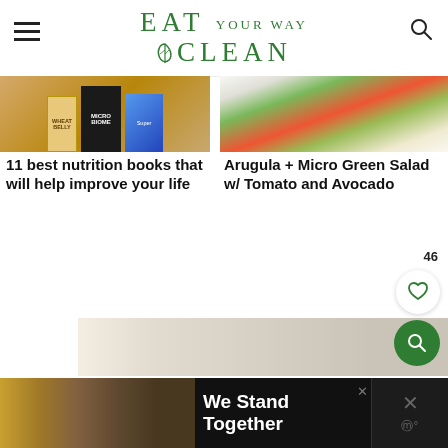EAT YOUR WAY CLEAN
[Figure (illustration): Thumbnail image showing stacked nutrition books including Wheat Belly, Microbiome, and Super books]
11 best nutrition books that will help improve your life
[Figure (photo): Overhead photo of arugula and micro green salad with tomato and avocado on a white plate]
Arugula + Micro Green Salad w/ Tomato and Avocado
[Figure (photo): Bottom partial image of food or content]
[Figure (photo): Advertisement banner showing group of friends with text We Stand Together]